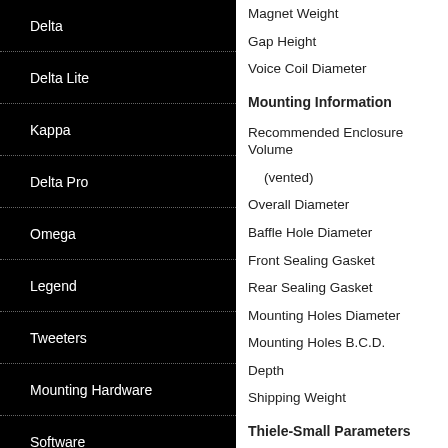Delta
Delta Lite
Kappa
Delta Pro
Omega
Legend
Tweeters
Mounting Hardware
Software
Magnet Weight
Gap Height
Voice Coil Diameter
Mounting Information
Recommended Enclosure Volume (vented)
Overall Diameter
Baffle Hole Diameter
Front Sealing Gasket
Rear Sealing Gasket
Mounting Holes Diameter
Mounting Holes B.C.D.
Depth
Shipping Weight
Thiele-Small Parameters
Resonant Frequency (fs)
Impedance (Re)
Coil Inductance (Le)
Electromagnetic Q (Qes)
Mechanical Q (Qms)